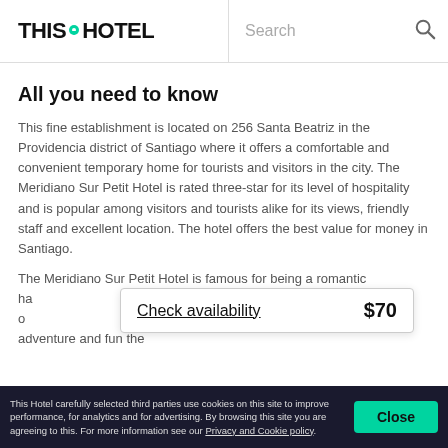THIS HOTEL | Search
All you need to know
This fine establishment is located on 256 Santa Beatriz in the Providencia district of Santiago where it offers a comfortable and convenient temporary home for tourists and visitors in the city. The Meridiano Sur Petit Hotel is rated three-star for its level of hospitality and is popular among visitors and tourists alike for its views, friendly staff and excellent location. The hotel offers the best value for money in Santiago.
The Meridiano Sur Petit Hotel is famous for being a romantic ha[venue], offering the best hospitality [and service]. The hotel is also the perfect launching pad for the adventure and fun the
Check availability   $70
This Hotel carefully selected third parties use cookies on this site to improve performance, for analytics and for advertising. By browsing this site you are agreeing to this. For more information see our Privacy and Cookie policy.